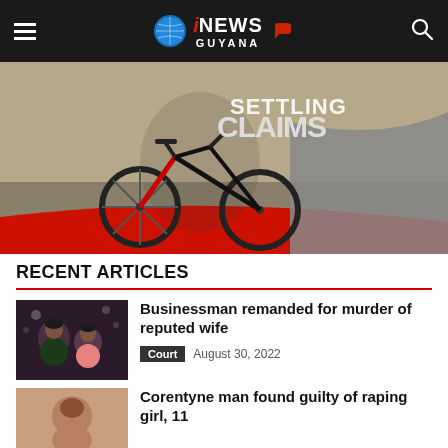iNEWS GUYANA
[Figure (photo): Cycling advertisement banner showing a cyclist on a road bike with text 'SETTLING CLAIMS' and GRM insurance logo]
RECENT ARTICLES
[Figure (photo): Thumbnail photo of a man and woman at a social gathering]
Businessman remanded for murder of reputed wife
Court  August 30, 2022
[Figure (photo): Thumbnail photo of a person]
Corentyne man found guilty of raping girl, 11